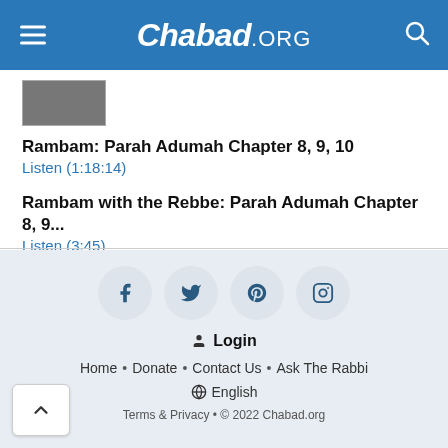Chabad.ORG
[Figure (screenshot): Small thumbnail image placeholder]
Rambam: Parah Adumah Chapter 8, 9, 10
Listen (1:18:14)
Rambam with the Rebbe: Parah Adumah Chapter 8, 9...
Listen (3:45)
Login
Home • Donate • Contact Us • Ask The Rabbi
English
Terms & Privacy • © 2022 Chabad.org